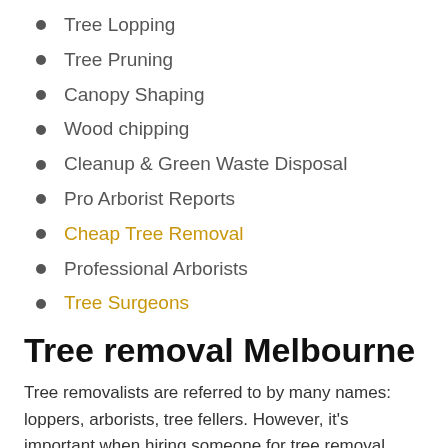Tree Lopping
Tree Pruning
Canopy Shaping
Wood chipping
Cleanup & Green Waste Disposal
Pro Arborist Reports
Cheap Tree Removal
Professional Arborists
Tree Surgeons
Tree removal Melbourne
Tree removalists are referred to by many names: loppers, arborists, tree fellers. However, it's important when hiring someone for tree removal Melbourne to get someone with the right qualifications and